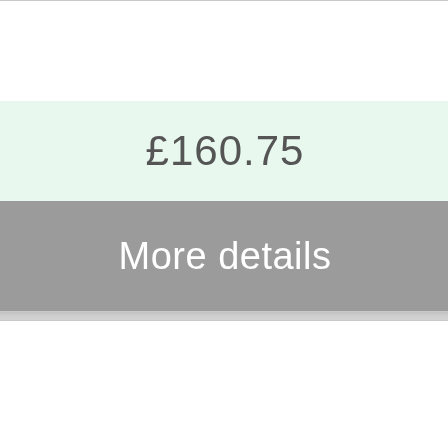£160.75
More details
[Figure (logo): WhatsApp green rounded square icon with white phone/chat bubble logo]